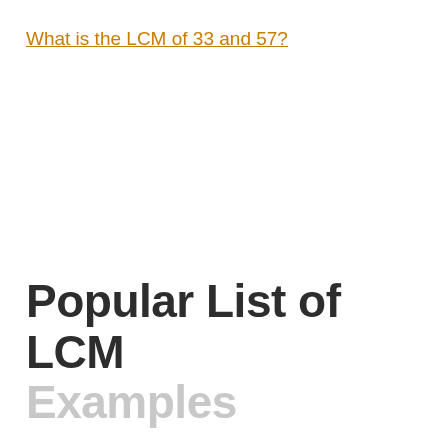What is the LCM of 33 and 57?
Popular List of LCM Examples